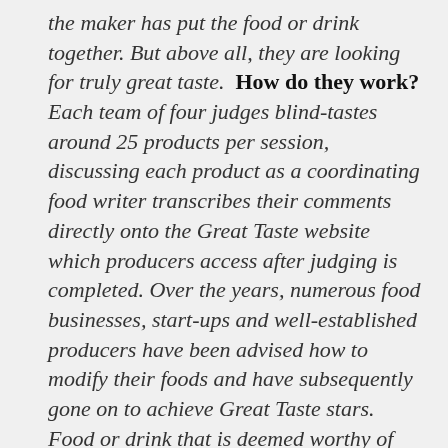the maker has put the food or drink together. But above all, they are looking for truly great taste. How do they work? Each team of four judges blind-tastes around 25 products per session, discussing each product as a coordinating food writer transcribes their comments directly onto the Great Taste website which producers access after judging is completed. Over the years, numerous food businesses, start-ups and well-established producers have been advised how to modify their foods and have subsequently gone on to achieve Great Taste stars. Food or drink that is deemed worthy of Great Taste stars is also tasted by a team of arbitrators, who taste, confer and agree on the final award given. If judges feel that a product needs some adjustment, and therefore not likely to receive